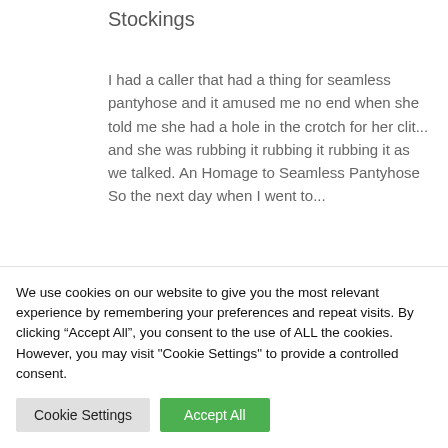Stockings
I had a caller that had a thing for seamless pantyhose and it amused me no end when she told me she had a hole in the crotch for her clit... and she was rubbing it rubbing it rubbing it as we talked. An Homage to Seamless Pantyhose So the next day when I went to...
[Figure (photo): Partial photo showing legs/stockings, cropped at top of frame, dark shape visible against light background]
We use cookies on our website to give you the most relevant experience by remembering your preferences and repeat visits. By clicking “Accept All”, you consent to the use of ALL the cookies. However, you may visit "Cookie Settings" to provide a controlled consent.